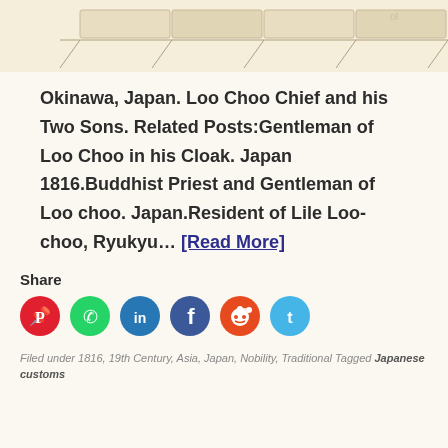[Figure (illustration): Partial view of a Japanese-style tiled roof illustration, beige/cream colored tiles with pencil lines]
Okinawa, Japan. Loo Choo Chief and his Two Sons. Related Posts:Gentleman of Loo Choo in his Cloak. Japan 1816.Buddhist Priest and Gentleman of Loo choo. Japan.Resident of Lile Loo-choo, Ryukyu… [Read More]
Share
[Figure (infographic): Social media share buttons: Pinterest (red), WhatsApp (green), LinkedIn (blue), Facebook (dark blue), Reddit (orange-red), Twitter (light blue)]
Filed under 1816, 19th Century, Asia, Japan, Nobility, Traditional Tagged Japanese customs